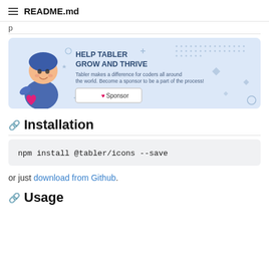README.md
p
[Figure (illustration): Sponsor banner with Tabler mascot character holding a heart, text: HELP TABLER GROW AND THRIVE. Tabler makes a difference for coders all around the world. Become a sponsor to be a part of the process! Sponsor button.]
Installation
or just download from Github.
Usage